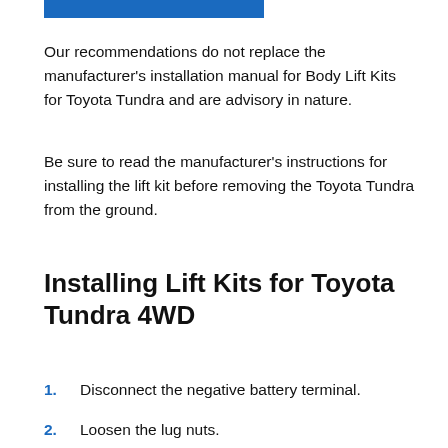[Figure (other): Blue horizontal bar decorative element at top of page]
Our recommendations do not replace the manufacturer's installation manual for Body Lift Kits for Toyota Tundra and are advisory in nature.
Be sure to read the manufacturer's instructions for installing the lift kit before removing the Toyota Tundra from the ground.
Installing Lift Kits for Toyota Tundra 4WD
1. Disconnect the negative battery terminal.
2. Loosen the lug nuts.